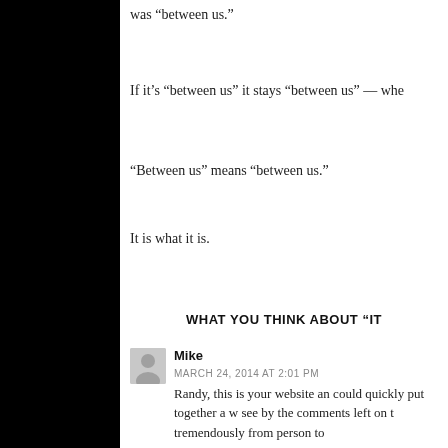was “between us.”
If it’s “between us” it stays “between us” — whe
“Between us” means “between us.”
It is what it is.
WHAT YOU THINK ABOUT “IT
Mike
MARCH 24, 2014 AT 2:01 PM
Randy, this is your website an could quickly put together a w see by the comments left on t tremendously from person to